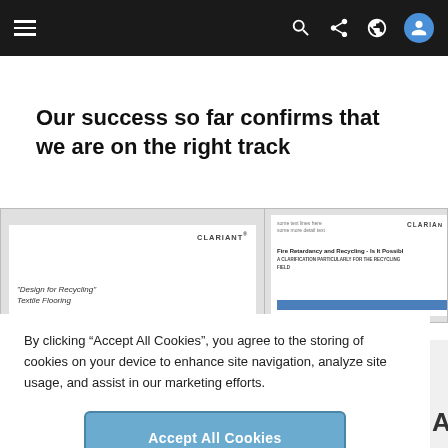Navigation bar with hamburger menu, search, share, globe, and user icons
Our success so far confirms that we are on the right track
[Figure (screenshot): Two document thumbnail previews side by side. Left: Clariant branded document titled 'Design for Recycling' Textile Flooring. Right: Clariant branded document titled 'Fire Retardancy and Recycling - Is It Possible?' with a blue bar graphic.]
By clicking “Accept All Cookies”, you agree to the storing of cookies on your device to enhance site navigation, analyze site usage, and assist in our marketing efforts.
Accept All Cookies
Cookies Settings